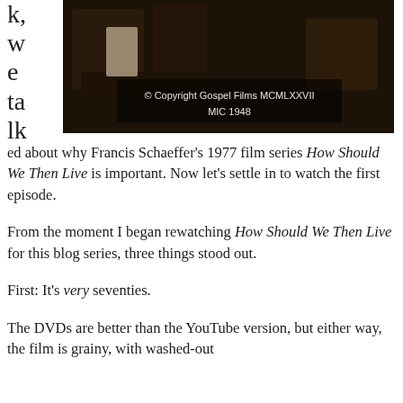k, we talk
[Figure (screenshot): Dark film screenshot with text overlay reading '© Copyright Gospel Films MCMLXXVII MIC 1948']
ed about why Francis Schaeffer's 1977 film series How Should We Then Live is important. Now let's settle in to watch the first episode.
From the moment I began rewatching How Should We Then Live for this blog series, three things stood out.
First: It's very seventies.
The DVDs are better than the YouTube version, but either way, the film is grainy, with washed-out